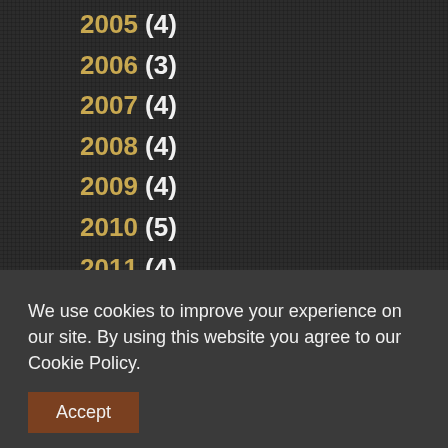2005 (4)
2006 (3)
2007 (4)
2008 (4)
2009 (4)
2010 (5)
2011 (4)
2012 (5)
2013 (5)
2014 (5)
2015 (5)
2016 (4)
2017 (4)
We use cookies to improve your experience on our site. By using this website you agree to our Cookie Policy.
Accept